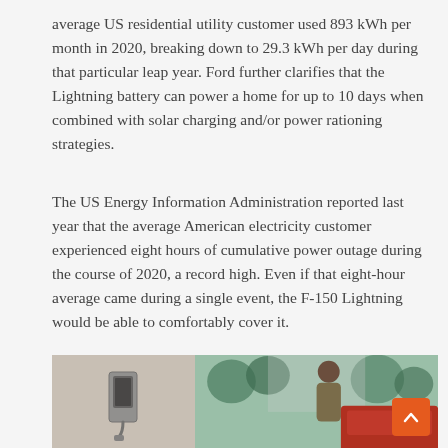average US residential utility customer used 893 kWh per month in 2020, breaking down to 29.3 kWh per day during that particular leap year. Ford further clarifies that the Lightning battery can power a home for up to 10 days when combined with solar charging and/or power rationing strategies.
The US Energy Information Administration reported last year that the average American electricity customer experienced eight hours of cumulative power outage during the course of 2020, a record high. Even if that eight-hour average came during a single event, the F-150 Lightning would be able to comfortably cover it.
[Figure (photo): Photo showing a Ford home EV charger mounted on a wall on the left side, and a person (woman with hair up, wearing olive/tan jacket) interacting with a red vehicle near a garage on the right side.]